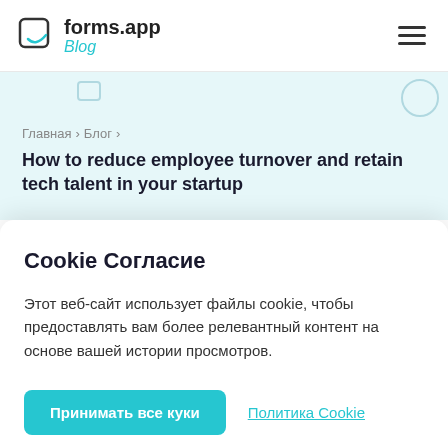forms.app Blog
Главная › Блог ›
How to reduce employee turnover and retain tech talent in your startup
Cookie Согласие
Этот веб-сайт использует файлы cookie, чтобы предоставлять вам более релевантный контент на основе вашей истории просмотров.
Принимать все куки   Политика Cookie